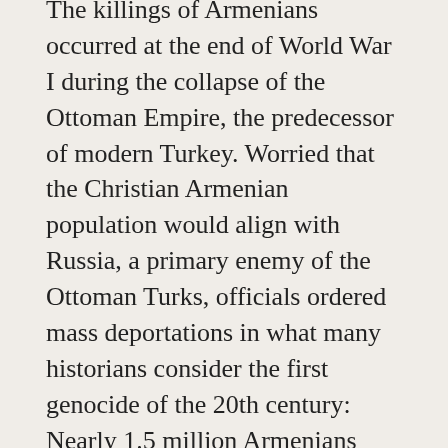The killings of Armenians occurred at the end of World War I during the collapse of the Ottoman Empire, the predecessor of modern Turkey. Worried that the Christian Armenian population would align with Russia, a primary enemy of the Ottoman Turks, officials ordered mass deportations in what many historians consider the first genocide of the 20th century: Nearly 1.5 million Armenians were killed, some in massacres by soldiers and the police, others in forced exoduses to the Syrian desert that left them starved to death.
Turkey has acknowledged that widespread atrocities occurred during that period, but its leaders have adamantly denied that the killings were genocide.
In the days leading up to Mr. Biden's announcement, Armenians and human rights activists in Turkey expressed caution, partly because of years of political